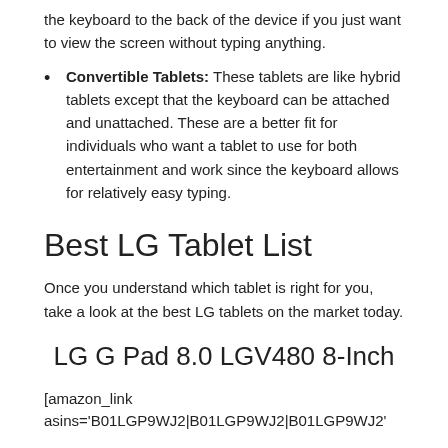the keyboard to the back of the device if you just want to view the screen without typing anything.
Convertible Tablets: These tablets are like hybrid tablets except that the keyboard can be attached and unattached. These are a better fit for individuals who want a tablet to use for both entertainment and work since the keyboard allows for relatively easy typing.
Best LG Tablet List
Once you understand which tablet is right for you, take a look at the best LG tablets on the market today.
LG G Pad 8.0 LGV480 8-Inch
[amazon_link asins='B01LGP9WJ2|B01LGP9WJ2|B01LGP9WJ2'